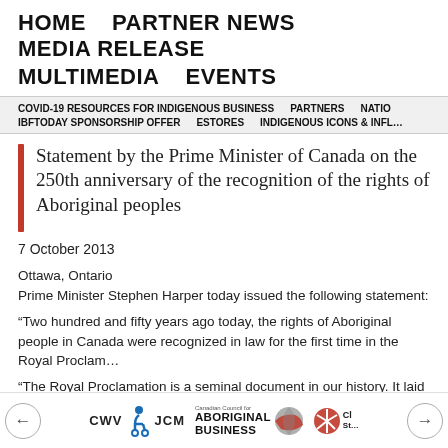HOME  PARTNER NEWS  MEDIA RELEASE  MULTIMEDIA  EVENTS
COVID-19 RESOURCES FOR INDIGENOUS BUSINESS  PARTNERS  NATION  IBFTODAY SPONSORSHIP OFFER  ESTORES  INDIGENOUS ICONS & INFL…
Statement by the Prime Minister of Canada on the 250th anniversary of the recognition of the rights of Aboriginal peoples
7 October 2013
Ottawa, Ontario
Prime Minister Stephen Harper today issued the following statement:
“Two hundred and fifty years ago today, the rights of Aboriginal people in Canada were recognized in law for the first time in the Royal Proclam…
“The Royal Proclamation is a seminal document in our history. It laid th…
← CWV [figure] JCM  Canadian Council for ABORIGINAL BUSINESS [logo] [logo] Cl S… →